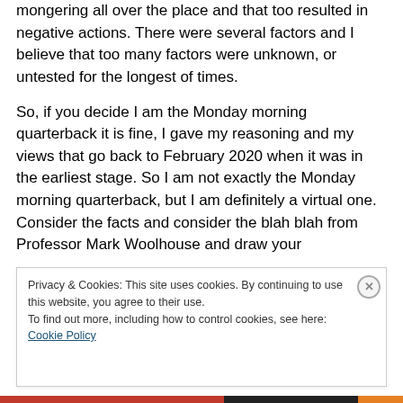stage is also ignored in this story. The media was fear mongering all over the place and that too resulted in negative actions. There were several factors and I believe that too many factors were unknown, or untested for the longest of times.

So, if you decide I am the Monday morning quarterback it is fine, I gave my reasoning and my views that go back to February 2020 when it was in the earliest stage. So I am not exactly the Monday morning quarterback, but I am definitely a virtual one. Consider the facts and consider the blah blah from Professor Mark Woolhouse and draw your
Privacy & Cookies: This site uses cookies. By continuing to use this website, you agree to their use.
To find out more, including how to control cookies, see here: Cookie Policy
Close and accept